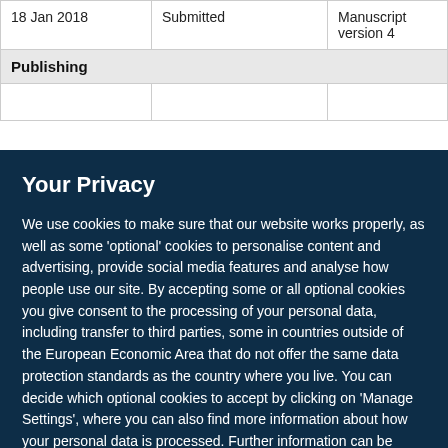|  |  |  |
| --- | --- | --- |
| 18 Jan 2018 | Submitted | Manuscript version 4 |
| Publishing |  |  |
|  |  |  |
Your Privacy
We use cookies to make sure that our website works properly, as well as some ‘optional’ cookies to personalise content and advertising, provide social media features and analyse how people use our site. By accepting some or all optional cookies you give consent to the processing of your personal data, including transfer to third parties, some in countries outside of the European Economic Area that do not offer the same data protection standards as the country where you live. You can decide which optional cookies to accept by clicking on ‘Manage Settings’, where you can also find more information about how your personal data is processed. Further information can be found in our privacy policy.
Accept all cookies
Manage preferences